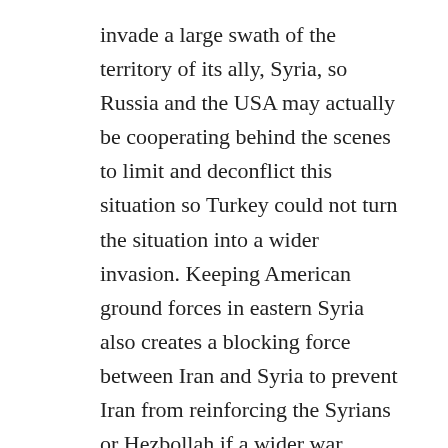invade a large swath of the territory of its ally, Syria, so Russia and the USA may actually be cooperating behind the scenes to limit and deconflict this situation so Turkey could not turn the situation into a wider invasion. Keeping American ground forces in eastern Syria also creates a blocking force between Iran and Syria to prevent Iran from reinforcing the Syrians or Hezbollah if a wider war erupts. Also, the American-Kurdish cooperation in eliminating the leader of ISIS in a commando raid shows that Kurdish-American military cooperation is still continuing.
Furthermore, it needs to be stressed that Iran